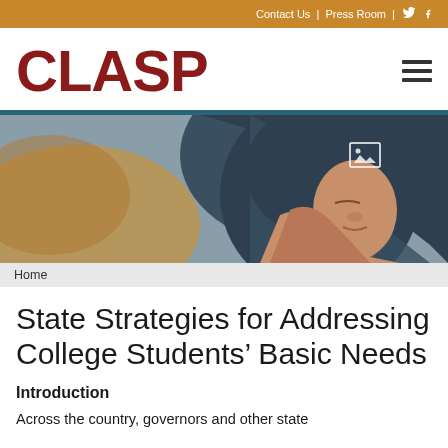Contact Us | Press Room | Twitter | Facebook
CLASP
[Figure (photo): A young woman wearing a dark blue hijab rests her head on her hand, appearing contemplative or tired, with a blurred warm-toned background]
Home
State Strategies for Addressing College Students' Basic Needs
Introduction
Across the country, governors and other state